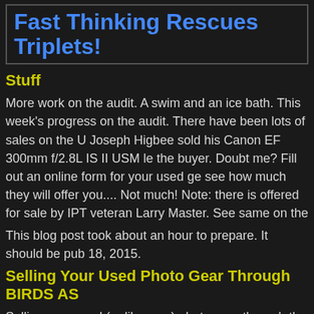Fast Thinking Rescues Triplets!
Stuff
More work on the audit. A swim and an ice bath. This week's progress on the audit. There have been lots of sales on the U Joseph Higbee sold his Canon EF 300mm f/2.8L IS II USM le the buyer. Doubt me? Fill out an online form for your used ge see how much they will offer you.... Not much! Note: there is offered for sale by IPT veteran Larry Master. See same on the
This blog post took about an hour to prepare. It should be pub 18, 2015.
Selling Your Used Photo Gear Through BIRDS AS
Selling your used (or like-new) photo gear through the BAA B charge only a 5% commission. One of the more popular used assorted fees! Yikes. The minimum item price here is $500 (d with the words Items for Sale Info Request cut and pasted int pricing advice, usually sells in no time flat. In the past few mo know that prices on some items like the EOS-1D Mark IV, the 400mm IS DO lens have been dropping steadily. You can alw the prices on the Used Gear Page by clicking here